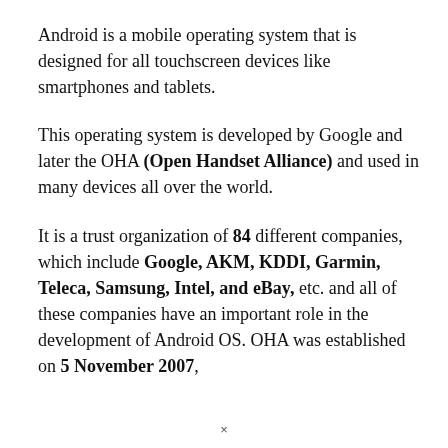Android is a mobile operating system that is designed for all touchscreen devices like smartphones and tablets.
This operating system is developed by Google and later the OHA (Open Handset Alliance) and used in many devices all over the world.
It is a trust organization of 84 different companies, which include Google, AKM, KDDI, Garmin, Teleca, Samsung, Intel, and eBay, etc. and all of these companies have an important role in the development of Android OS. OHA was established on 5 November 2007,
×